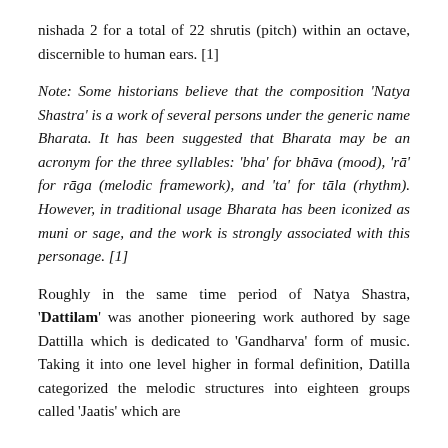nishada 2 for a total of 22 shrutis (pitch) within an octave, discernible to human ears. [1]
Note: Some historians believe that the composition 'Natya Shastra' is a work of several persons under the generic name Bharata. It has been suggested that Bharata may be an acronym for the three syllables: 'bha' for bhāva (mood), 'rā' for rāga (melodic framework), and 'ta' for tāla (rhythm). However, in traditional usage Bharata has been iconized as muni or sage, and the work is strongly associated with this personage. [1]
Roughly in the same time period of Natya Shastra, 'Dattilam' was another pioneering work authored by sage Dattilla which is dedicated to 'Gandharva' form of music. Taking it into one level higher in formal definition, Datilla categorized the melodic structures into eighteen groups called 'Jaatis' which are